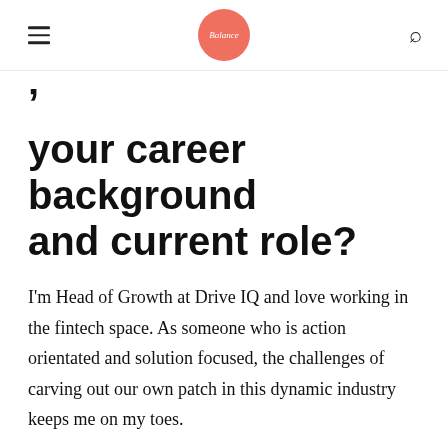Balance [logo]
your career background and current role?
I'm Head of Growth at Drive IQ and love working in the fintech space. As someone who is action orientated and solution focused, the challenges of carving out our own patch in this dynamic industry keeps me on my toes.
Fresh out of Uni with a shiny new Communications degree under my arm, I